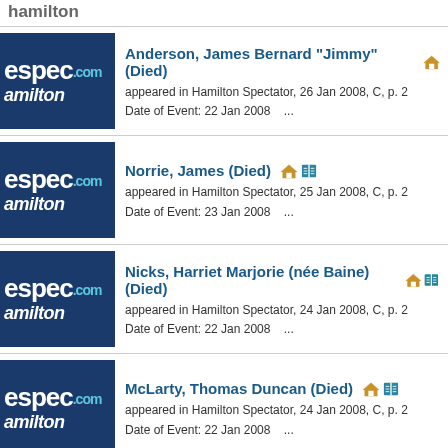hamilton
Anderson, James Bernard "Jimmy" (Died)
appeared in Hamilton Spectator, 26 Jan 2008, C, p. 2
Date of Event: 22 Jan 2008    ...
Norrie, James (Died)
appeared in Hamilton Spectator, 25 Jan 2008, C, p. 2
Date of Event: 23 Jan 2008    ...
Nicks, Harriet Marjorie (née Baine) (Died)
appeared in Hamilton Spectator, 24 Jan 2008, C, p. 2
Date of Event: 22 Jan 2008    ...
McLarty, Thomas Duncan (Died)
appeared in Hamilton Spectator, 24 Jan 2008, C, p. 2
Date of Event: 22 Jan 2008    ...